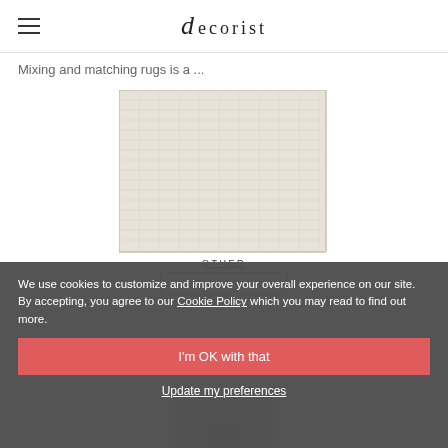decorist
Mixing and matching rugs is a ...
[Figure (photo): A light beige/cream textured woven rug photographed from above on white background]
OTHER
VIEW ADVICE
We use cookies to customize and improve your overall experience on our site. By accepting, you agree to our Cookie Policy which you may read to find out more.
I'm OK with that
Update my preferences
[Figure (photo): Partial view of a product (vase or decor item) visible at the bottom of the page, partially obscured by cookie overlay]